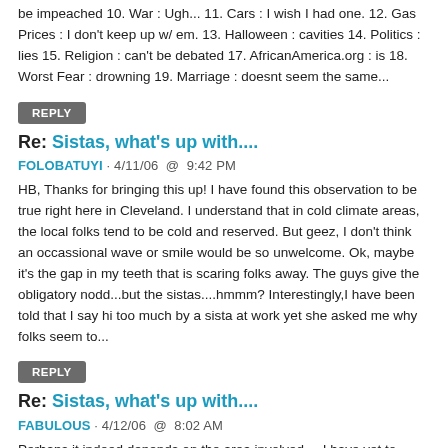be impeached 10. War : Ugh... 11. Cars : I wish I had one. 12. Gas Prices : I don't keep up w/ em. 13. Halloween : cavities 14. Politics : lies 15. Religion : can't be debated 17. AfricanAmerica.org : is 18. Worst Fear : drowning 19. Marriage : doesnt seem the same...
REPLY
Re: Sistas, what's up with....
FOLOBATUYI · 4/11/06  @  9:42 PM
HB, Thanks for bringing this up! I have found this observation to be true right here in Cleveland. I understand that in cold climate areas, the local folks tend to be cold and reserved. But geez, I don't think an occassional wave or smile would be so unwelcome. Ok, maybe it's the gap in my teeth that is scaring folks away. The guys give the obligatory nodd...but the sistas....hmmm? Interestingly,I have been told that I say hi too much by a sista at work yet she asked me why folks seem to...
REPLY
Re: Sistas, what's up with....
FABULOUS · 4/12/06  @  8:02 AM
Perhaps it indeed depends on the area involved. . .I have yet to experience the same type of harassment from black men that some of